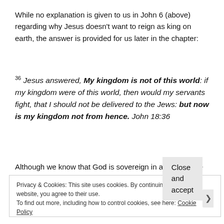While no explanation is given to us in John 6 (above) regarding why Jesus doesn't want to reign as king on earth, the answer is provided for us later in the chapter:
36 Jesus answered, My kingdom is not of this world: if my kingdom were of this world, then would my servants fight, that I should not be delivered to the Jews: but now is my kingdom not from hence. John 18:36
Although we know that God is sovereign in all things, the gospels teach us exactly what our rebellion in the garden cost both us and him:
Privacy & Cookies: This site uses cookies. By continuing to use this website, you agree to their use. To find out more, including how to control cookies, see here: Cookie Policy